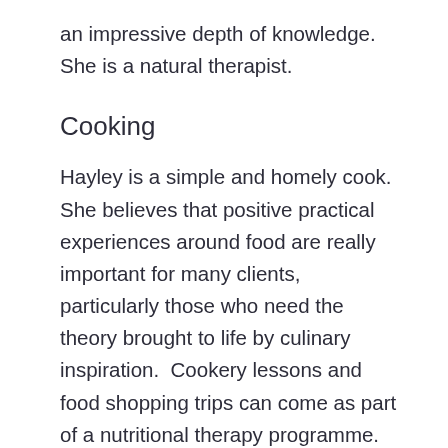an impressive depth of knowledge. She is a natural therapist.
Cooking
Hayley is a simple and homely cook. She believes that positive practical experiences around food are really important for many clients, particularly those who need the theory brought to life by culinary inspiration.  Cookery lessons and food shopping trips can come as part of a nutritional therapy programme.